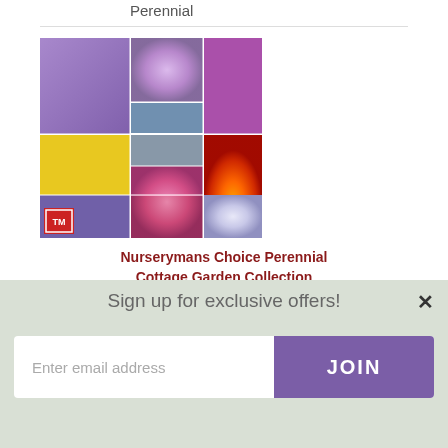Perennial
[Figure (photo): Grid collage of colorful garden perennial flowers including purple spikes, yellow flowers, orange/red daisy, pink coneflower, lavender asters, and ground cover plants. Thompson & Morgan logo badge in lower left.]
Nurserymans Choice Perennial Cottage Garden Collection
[Figure (other): 4 out of 5 star rating shown with gold stars]
Sign up for exclusive offers!
Enter email address
JOIN